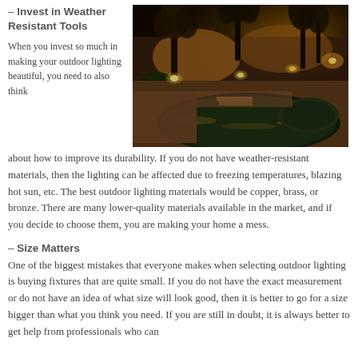– Invest in Weather Resistant Tools
[Figure (photo): Nighttime outdoor pool area with warm landscape lighting illuminating palm trees, plants, and a wooden fence. The pool water reflects the golden lights.]
When you invest so much in making your outdoor lighting beautiful, you need to also think about how to improve its durability. If you do not have weather-resistant materials, then the lighting can be affected due to freezing temperatures, blazing hot sun, etc. The best outdoor lighting materials would be copper, brass, or bronze. There are many lower-quality materials available in the market, and if you decide to choose them, you are making your home a mess.
– Size Matters
One of the biggest mistakes that everyone makes when selecting outdoor lighting is buying fixtures that are quite small. If you do not have the exact measurement or do not have an idea of what size will look good, then it is better to go for a size bigger than what you think you need. If you are still in doubt, it is always better to get help from professionals who can